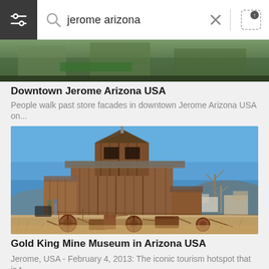jerome arizona
[Figure (photo): Cropped top portion of a photo showing Downtown Jerome Arizona USA - green rooftop visible]
Downtown Jerome Arizona USA
People walk past store facades in downtown Jerome Arizona USA on...
[Figure (photo): Gold King Mine Museum in Arizona USA - an old wooden barn-style building with rusted mining equipment and machinery in the foreground, blue sky and bare trees in background. Jerome, USA - February 4, 2013.]
Gold King Mine Museum in Arizona USA
Jerome, USA - February 4, 2013: The iconic tourism hotspot that is t...